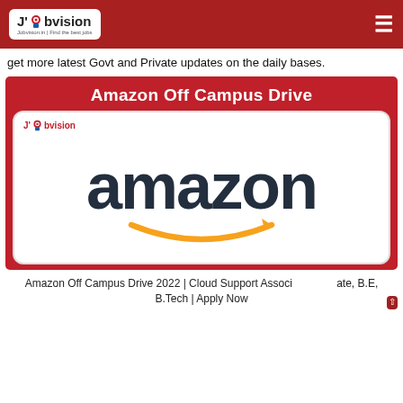Jobvision | Find the best jobs
get more latest Govt and Private updates on the daily bases.
[Figure (illustration): Amazon Off Campus Drive promotional banner featuring the Jobvision logo and the Amazon wordmark with the signature orange arrow smile logo, on a red background with a white card.]
Amazon Off Campus Drive 2022 | Cloud Support Associate, B.Tech | Apply Now